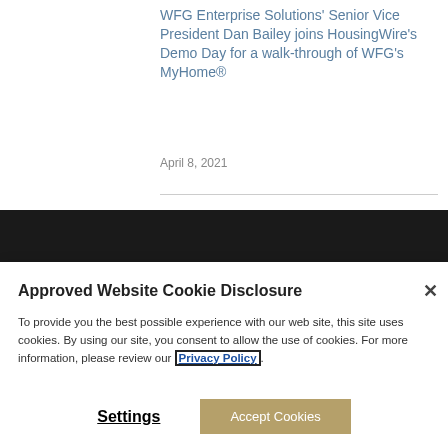WFG Enterprise Solutions' Senior Vice President Dan Bailey joins HousingWire's Demo Day for a walk-through of WFG's MyHome®
April 8, 2021
Approved Website Cookie Disclosure
To provide you the best possible experience with our web site, this site uses cookies. By using our site, you consent to allow the use of cookies. For more information, please review our Privacy Policy.
Settings
Accept Cookies